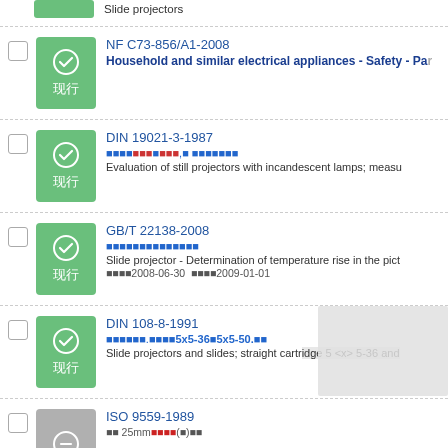Slide projectors (top partial entry)
NF C73-856/A1-2008 - Household and similar electrical appliances - Safety - Par
DIN 19021-3-1987 - Evaluation of still projectors with incandescent lamps; measu
GB/T 22138-2008 - Slide projector - Determination of temperature rise in the pict - 发布日期2008-06-30 实施日期2009-01-01
DIN 108-8-1991 - Slide projectors and slides; straight cartridge 5 <x> 5-36 and
ISO 9559-1989 (partial)